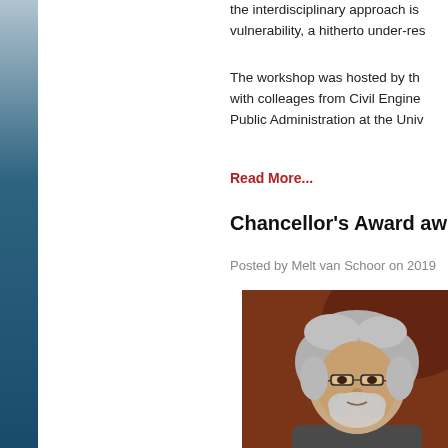the interdisciplinary approach is vulnerability, a hitherto under-res
The workshop was hosted by th with colleages from Civil Engine Public Administration at the Univ
Read More...
Chancellor's Award aw
Posted by Melt van Schoor on 2019
[Figure (photo): Portrait photo of an older man with grey hair and beard wearing glasses, against a brown background]